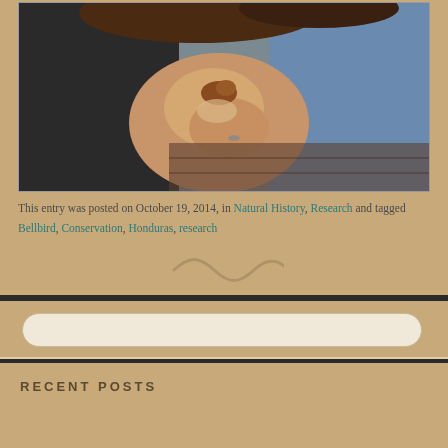[Figure (photo): Close-up photograph of hands holding a small bird (bellbird), with people visible in background wearing dark and blue clothing]
This entry was posted on October 19, 2014, in Natural History, Research and tagged Bellbird, Conservation, Honduras, research
[Figure (other): Decorative tilde/wave symbol watermark]
[Figure (other): Search input field (rounded rectangle)]
RECENT POSTS